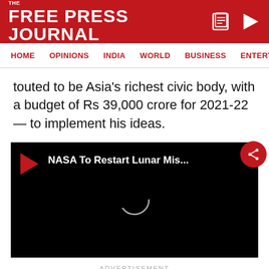THE FREE PRESS JOURNAL
HOME   OPINIONS   INDIA   WORLD   BUSINESS   ENTERTAIN
touted to be Asia's richest civic body, with a budget of Rs 39,000 crore for 2021-22 — to implement his ideas.
[Figure (screenshot): Embedded video player with black background, red play button triangle top-left, title 'NASA To Restart Lunar Mis...' in white bold text, loading spinner circle in center, red circular share button top-right]
ADVERTISEMENT